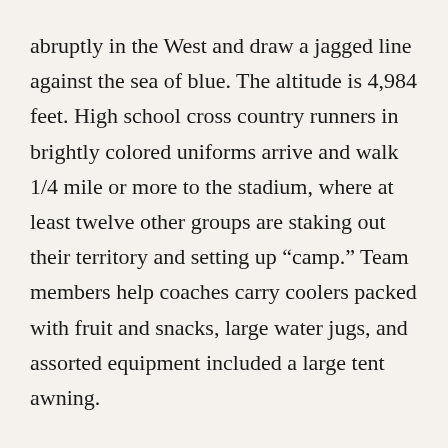abruptly in the West and draw a jagged line against the sea of blue. The altitude is 4,984 feet. High school cross country runners in brightly colored uniforms arrive and walk 1/4 mile or more to the stadium, where at least twelve other groups are staking out their territory and setting up “camp.” Team members help coaches carry coolers packed with fruit and snacks, large water jugs, and assorted equipment included a large tent awning.
The first to arrive plop their backpacks onto the grass and work together to raise up the poles of the canopy. Others talk with the coaches about the course and schedule. Some nap, play cards with